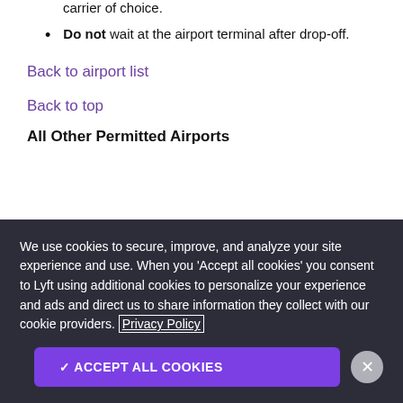carrier of choice.
Do not wait at the airport terminal after drop-off.
Back to airport list
Back to top
All Other Permitted Airports
We use cookies to secure, improve, and analyze your site experience and use. When you 'Accept all cookies' you consent to Lyft using additional cookies to personalize your experience and ads and direct us to share information they collect with our cookie providers. Privacy Policy
✓ ACCEPT ALL COOKIES